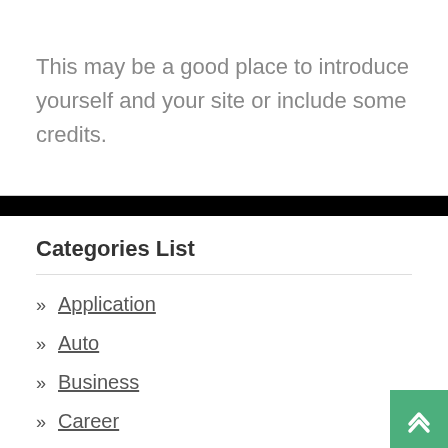This may be a good place to introduce yourself and your site or include some credits.
Categories List
» Application
» Auto
» Business
» Career